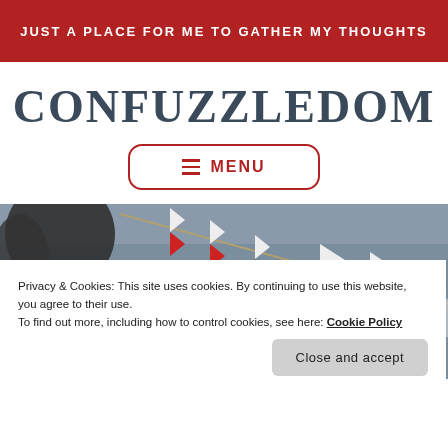JUST A PLACE FOR ME TO GATHER MY THOUGHTS
CONFUZZLEDOM
MENU
[Figure (photo): Waterfront scene with red and white pennant flags on a line, water and trees visible in background, partially black and white]
Privacy & Cookies: This site uses cookies. By continuing to use this website, you agree to their use.
To find out more, including how to control cookies, see here: Cookie Policy
Close and accept
'Hoenfner